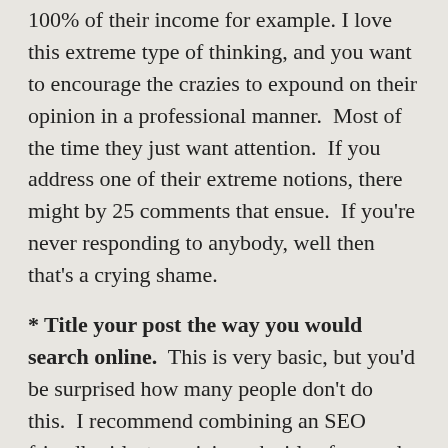100% of their income for example. I love this extreme type of thinking, and you want to encourage the crazies to expound on their opinion in a professional manner.  Most of the time they just want attention.  If you address one of their extreme notions, there might by 25 comments that ensue.  If you're never responding to anybody, well then that's a crying shame.
* Title your post the way you would search online.  This is very basic, but you'd be surprised how many people don't do this.  I recommend combining an SEO friendly title + a spicier sub-title afterward eg How To Write The Whale Post And Harpoon Moby Dick In The Eye.
* Write in a clear and coherent manner.  The basic tip of having a intro/thesis, body to support your thesis, and a conclusion still holds true.  Tell a story as...